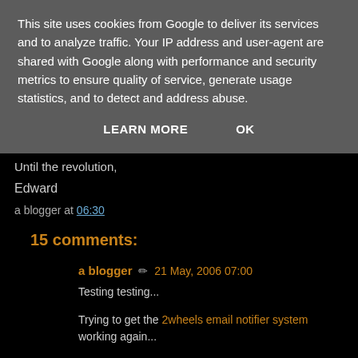This site uses cookies from Google to deliver its services and to analyze traffic. Your IP address and user-agent are shared with Google along with performance and security metrics to ensure quality of service, generate usage statistics, and to detect and address abuse.
LEARN MORE   OK
Until the revolution,
Edward
a blogger at 06:30
15 comments:
a blogger ✏ 21 May, 2006 07:00
Testing testing...
Trying to get the 2wheels email notifier system working again...